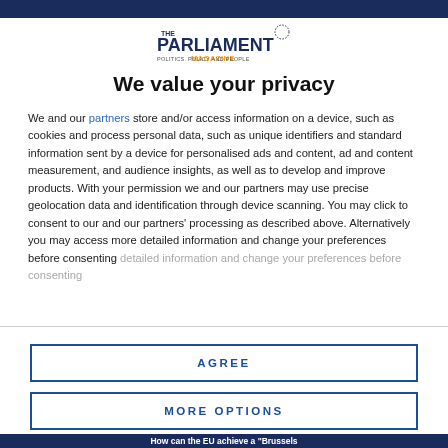[Figure (logo): The Parliament Magazine logo with tagline 'Politics, Policy and People']
We value your privacy
We and our partners store and/or access information on a device, such as cookies and process personal data, such as unique identifiers and standard information sent by a device for personalised ads and content, ad and content measurement, and audience insights, as well as to develop and improve products. With your permission we and our partners may use precise geolocation data and identification through device scanning. You may click to consent to our and our partners' processing as described above. Alternatively you may access more detailed information and change your preferences before consenting
AGREE
MORE OPTIONS
How can the EU achieve a "Brussels